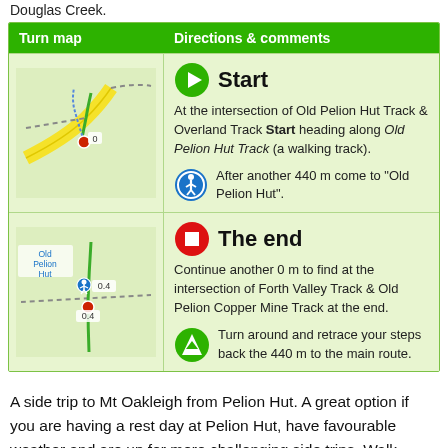Douglas Creek.
| Turn map | Directions & comments |
| --- | --- |
| [map image] | Start
At the intersection of Old Pelion Hut Track & Overland Track Start heading along Old Pelion Hut Track (a walking track).
After another 440 m come to "Old Pelion Hut". |
| [map image] | The end
Continue another 0 m to find at the intersection of Forth Valley Track & Old Pelion Copper Mine Track at the end.
Turn around and retrace your steps back the 440 m to the main route. |
A side trip to Mt Oakleigh from Pelion Hut. A great option if you are having a rest day at Pelion Hut, have favourable weather and are up for more challenging side trips. Walk along the porch 'behind' the hut (away from the toilets and down the timber steps to initially follow the Arm River Track. Then